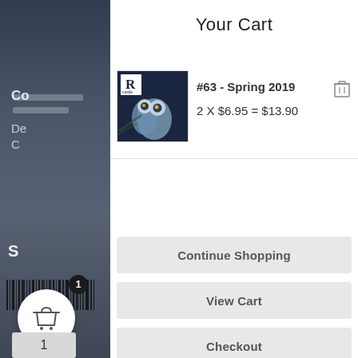[Figure (screenshot): Left panel showing a dark background with partial view of a product (owl magazine cover), barcode, price text, quantity box, and shopping cart button with badge showing '1']
Your Cart
[Figure (photo): Thumbnail image of magazine issue #63 Spring 2019 cover featuring owls with an 'R castle' logo]
#63 - Spring 2019
2 X $6.95 = $13.90
Continue Shopping
View Cart
Checkout